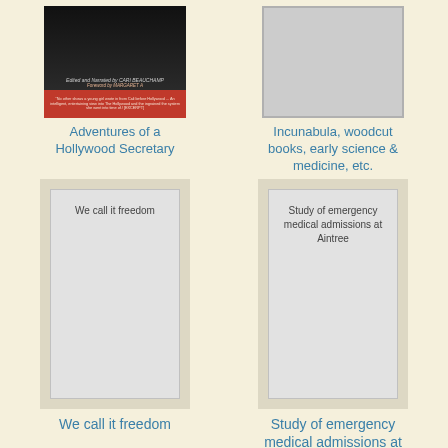[Figure (photo): Book cover of Adventures of a Hollywood Secretary, dark cover with red stripe at bottom, author Cari Beauchamp]
Adventures of a Hollywood Secretary
[Figure (photo): Gray placeholder image for Incunabula book]
Incunabula, woodcut books, early science & medicine, etc.
[Figure (photo): Gray book cover placeholder with text 'We call it freedom']
We call it freedom
[Figure (photo): Gray book cover placeholder with text 'Study of emergency medical admissions at Aintree']
Study of emergency medical admissions at Aintree
[Figure (photo): Gray book cover placeholder with text 'The Worrywarts']
[Figure (photo): Book cover of The Bread book with yellow/orange lettering on dark background, subtitle 'Simple Recipes for Extraordinary Breads']